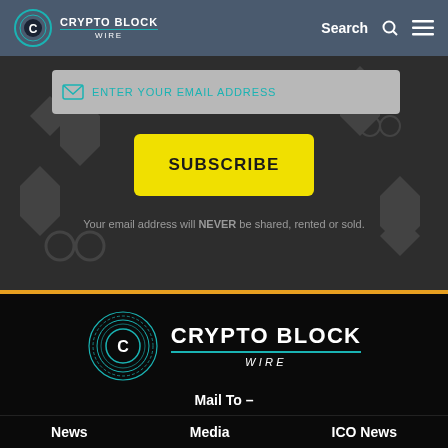CRYPTO BLOCK WIRE | Search | Menu
[Figure (screenshot): Email input field with placeholder text ENTER YOUR EMAIL ADDRESS]
[Figure (illustration): Yellow SUBSCRIBE button]
Your email address will NEVER be shared, rented or sold.
[Figure (logo): Crypto Block Wire logo large teal circular icon with C emblem and text CRYPTO BLOCK WIRE]
Mail To –
Crypto Block Wire LLC
3200 N. Federal Hwy, Ste. 228
Boca Raton, FL 33431
News | Media | ICO News